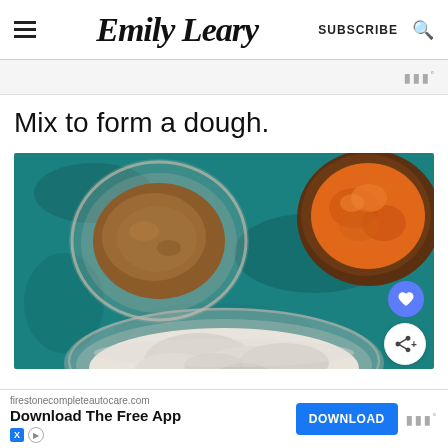Emily Leary — SUBSCRIBE
Mix to form a dough.
[Figure (photo): Overhead view of baking ingredients on a dark teal surface: a glass bowl of brown spice powder (lower left), a wooden bowl of orange pumpkin puree (upper right), and a large mixing bowl with partially mixed flour dough (bottom center)]
firestonecompleteautocare.com Download The Free App DOWNLOAD